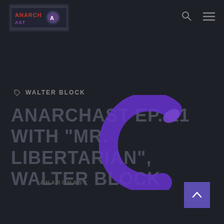[Figure (logo): Anarchast podcast logo with decorative image in top left corner]
[Figure (illustration): Search icon (magnifying glass) in header navigation]
[Figure (illustration): Hamburger menu icon in header navigation]
WALTER BLOCK
ANARCHAST EP. 11 WITH "MR. LIBERTARIAN", WALTER BLOCK
[Figure (illustration): Purple C-shape loading spinner overlaid on title area]
ANARCHAST
[Figure (illustration): Purple back-to-top arrow button in bottom right corner]